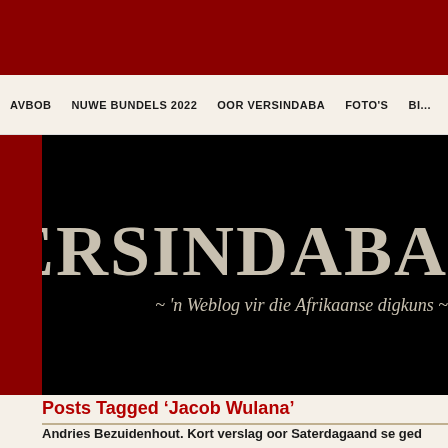AVBOB | NUWE BUNDELS 2022 | OOR VERSINDABA | FOTO'S | BI...
[Figure (screenshot): VERSINDABA website banner on black background with subtitle ~ 'n Weblog vir die Afrikaanse digkuns ~]
Posts Tagged ‘Jacob Wulana’
Andries Bezuidenhout. Kort verslag oor Saterdagaand se ged...
Monday, May 16th, 2011
Ek ry Saterdagaand om 23:00, min of meer, uit Mamelodi. Sukseswo...